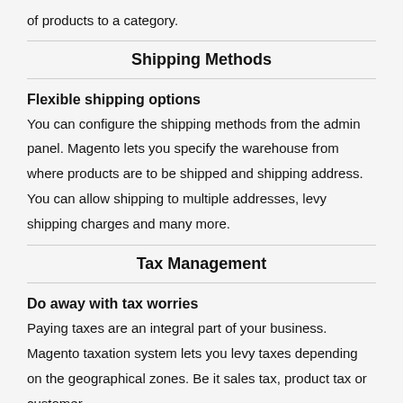of products to a category.
Shipping Methods
Flexible shipping options
You can configure the shipping methods from the admin panel. Magento lets you specify the warehouse from where products are to be shipped and shipping address. You can allow shipping to multiple addresses, levy shipping charges and many more.
Tax Management
Do away with tax worries
Paying taxes are an integral part of your business. Magento taxation system lets you levy taxes depending on the geographical zones. Be it sales tax, product tax or customer